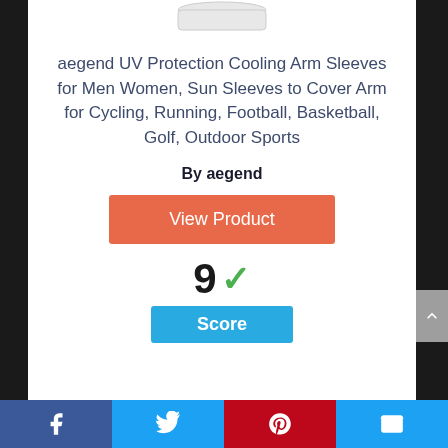[Figure (photo): Partial product image at top of page, white background]
aegend UV Protection Cooling Arm Sleeves for Men Women, Sun Sleeves to Cover Arm for Cycling, Running, Football, Basketball, Golf, Outdoor Sports
By aegend
View Product
9 ✓ Score